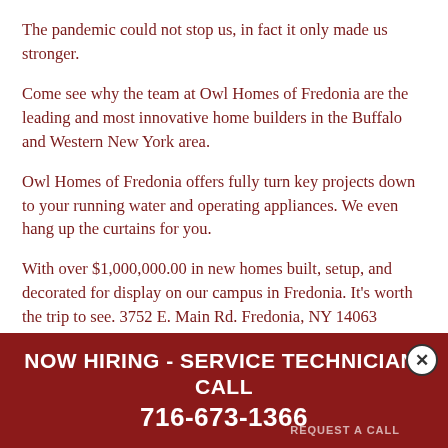The pandemic could not stop us, in fact it only made us stronger.
Come see why the team at Owl Homes of Fredonia are the leading and most innovative home builders in the Buffalo and Western New York area.
Owl Homes of Fredonia offers fully turn key projects down to your running water and operating appliances. We even hang up the curtains for you.
With over $1,000,000.00 in new homes built, setup, and decorated for display on our campus in Fredonia. It's worth the trip to see. 3752 E. Main Rd. Fredonia, NY 14063
Send an inquiry below or call to set up an appointment 716-673-1366.
Design your own home:
https://www.owlhom...
NOW HIRING - SERVICE TECHNICIAN: CALL 716-673-1366
REQUEST A CALL